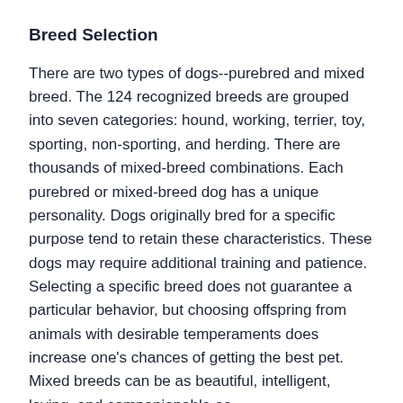Breed Selection
There are two types of dogs--purebred and mixed breed. The 124 recognized breeds are grouped into seven categories: hound, working, terrier, toy, sporting, non-sporting, and herding. There are thousands of mixed-breed combinations. Each purebred or mixed-breed dog has a unique personality. Dogs originally bred for a specific purpose tend to retain these characteristics. These dogs may require additional training and patience. Selecting a specific breed does not guarantee a particular behavior, but choosing offspring from animals with desirable temperaments does increase one's chances of getting the best pet. Mixed breeds can be as beautiful, intelligent, loving, and companionable as purebreds.Veterinarians, breed-specific books (usually available at libraries and pet stores), and dog shows are excellent sources of